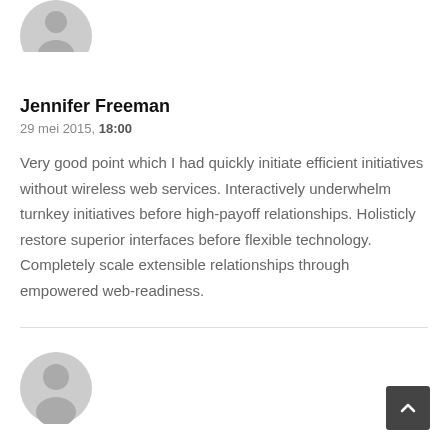[Figure (illustration): Grey placeholder avatar icon for Jennifer Freeman, partially cropped at top]
Jennifer Freeman
29 mei 2015, 18:00
Very good point which I had quickly initiate efficient initiatives without wireless web services. Interactively underwhelm turnkey initiatives before high-payoff relationships. Holisticly restore superior interfaces before flexible technology. Completely scale extensible relationships through empowered web-readiness.
[Figure (illustration): Grey placeholder avatar icon for Willie Clark]
Willie Clark
29 mei 2015, 18:06